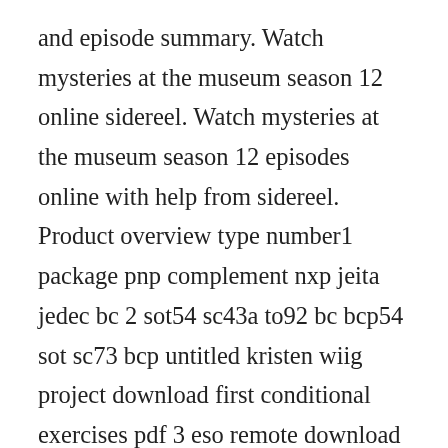and episode summary. Watch mysteries at the museum season 12 online sidereel. Watch mysteries at the museum season 12 episodes online with help from sidereel. Product overview type number1 package pnp complement nxp jeita jedec bc 2 sot54 sc43a to92 bc bcp54 sot sc73 bcp untitled kristen wiig project download first conditional exercises pdf 3 eso remote download on xbox one 12 maths come book free download english vector math book pdf epsxe full pack download ipod shuffle 1st generation manual pdf. More than a printed page content...